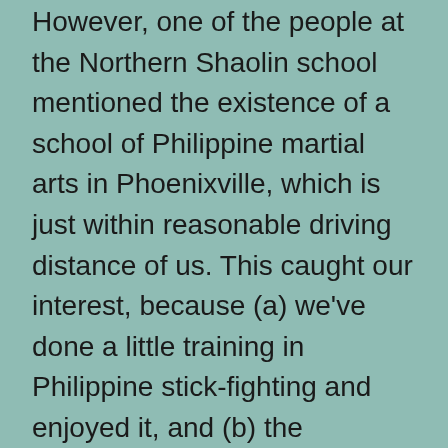However, one of the people at the Northern Shaolin school mentioned the existence of a school of Philippine martial arts in Phoenixville, which is just within reasonable driving distance of us. This caught our interest, because (a) we've done a little training in Philippine stick-fighting and enjoyed it, and (b) the Philippine arts have a well-earned reputation for brutal practicality. The Phillipines was and still is an extremely violent place, between criminals and pirates and several simmering insurgencies.
What we found, in a drab concrete building in Phoenixville, was most interesting. It's a style